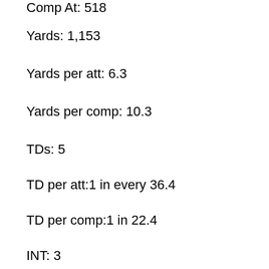Comp At: 518
Yards: 1,153
Yards per att: 6.3
Yards per comp: 10.3
TDs: 5
TD per att:1 in every 36.4
TD per comp:1 in 22.4
INT: 3
INT per att:1 in every 60.7